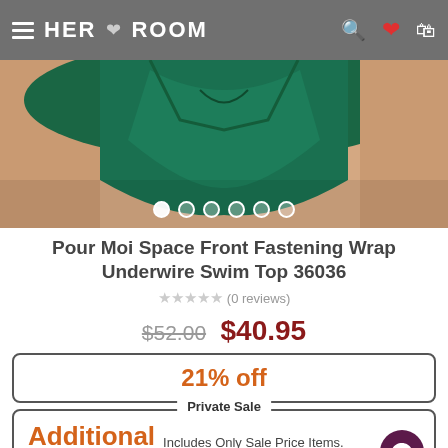HER ROOM
[Figure (photo): Product photo of a green swimsuit wrap top with carousel navigation dots at bottom. Model wearing teal/emerald green swimwear. Six carousel dots shown, first one active.]
Pour Moi Space Front Fastening Wrap Underwire Swim Top 36036
★★★★★ (0 reviews)
$52.00 $40.95
21% off
Private Sale
Additional 20% Off Includes Only Sale Price Items. Discount reflected in your shopping